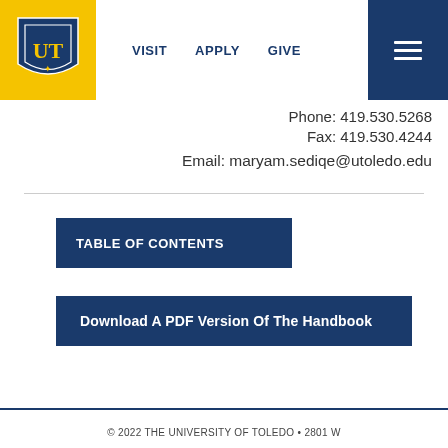[Figure (logo): University of Toledo shield logo — gold background with blue shield containing 'UT' letters]
VISIT   APPLY   GIVE
Phone: 419.530.5268
Fax: 419.530.4244
Email: maryam.sediqe@utoledo.edu
TABLE OF CONTENTS
Download A PDF Version Of The Handbook
© 2022 THE UNIVERSITY OF TOLEDO • 2801 W